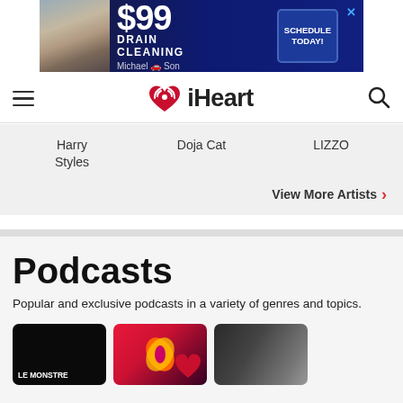[Figure (other): Advertisement banner for $99 Drain Cleaning by Michael & Son with 'Schedule Today!' button]
iHeart
Harry Styles
Doja Cat
LIZZO
View More Artists
Podcasts
Popular and exclusive podcasts in a variety of genres and topics.
[Figure (other): LE MONSTRE podcast thumbnail - dark background with white text]
[Figure (other): Podcast thumbnail with colorful butterfly/graphic on red background with iHeart logo]
[Figure (other): Podcast thumbnail with people in dark setting]